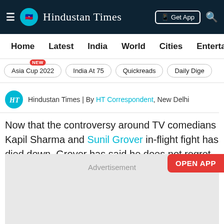Hindustan Times
Home  Latest  India  World  Cities  Entertainment
Asia Cup 2022 NEW
India At 75
Quickreads
Daily Dige
Hindustan Times | By HT Correspondent, New Delhi
Now that the controversy around TV comedians Kapil Sharma and Sunil Grover in-flight fight has died down, Grover has said he does not regret quitting The Kapil Sharma Show.
[Figure (other): Advertisement placeholder box]